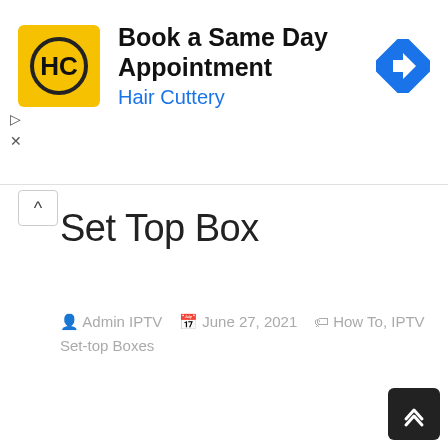[Figure (infographic): Hair Cuttery advertisement banner: yellow square logo with HC monogram, text 'Book a Same Day Appointment' in bold and 'Hair Cuttery' in blue, blue diamond arrow icon on right]
Set Top Box
Admin IPTV   June 27, 2021   How To, IPTV Set-top Boxes